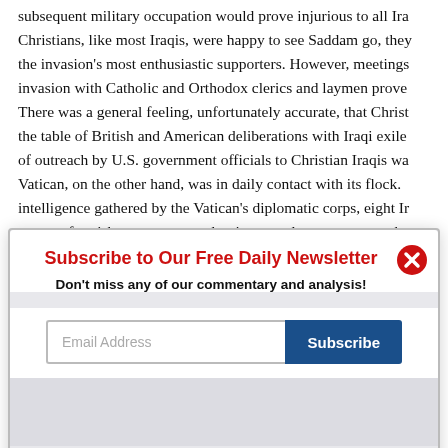subsequent military occupation would prove injurious to all Ira... Christians, like most Iraqis, were happy to see Saddam go, they... the invasion's most enthusiastic supporters. However, meetings... invasion with Catholic and Orthodox clerics and laymen prove... There was a general feeling, unfortunately accurate, that Christ... the table of British and American deliberations with Iraqi exile... of outreach by U.S. government officials to Christian Iraqis wa... Vatican, on the other hand, was in daily contact with its flock... intelligence gathered by the Vatican's diplomatic corps, eight Ir... scores of parishes was more voluminous and more accurate tha...
[Figure (other): Newsletter subscription modal popup with title 'Subscribe to Our Free Daily Newsletter', subtitle 'Don't miss any of our commentary and analysis!', an email address input field, a Subscribe button, a close (X) button, and a 'Not interested' link.]